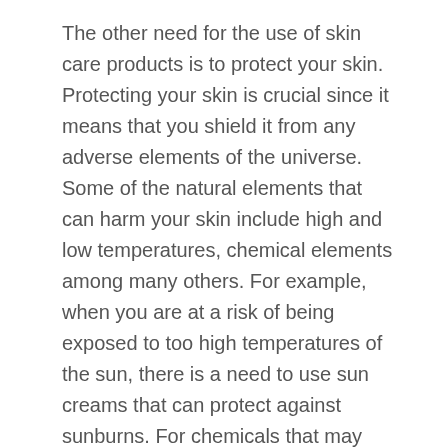The other need for the use of skin care products is to protect your skin. Protecting your skin is crucial since it means that you shield it from any adverse elements of the universe. Some of the natural elements that can harm your skin include high and low temperatures, chemical elements among many others. For example, when you are at a risk of being exposed to too high temperatures of the sun, there is a need to use sun creams that can protect against sunburns. For chemicals that may harm your skin, you could apply the skin care products before you expose your skin to the chemicals and in this way, your skin would be protected.
Finally, the healing of your skin cannot be achieved where there is no use of these said skin care products. The healing process seeks to restore your skin to its state before it was injured. Some common skin problems that can require you to use skin care products to restore your skin may include scabies, unusual skin